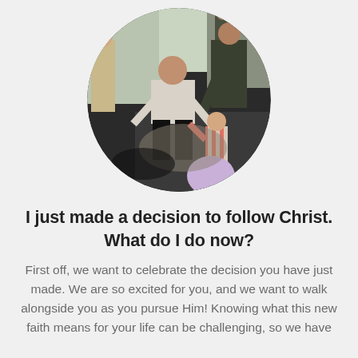[Figure (photo): Circular cropped photo of adults crouching down to interact with a young child in what appears to be a church lobby or gathering space. One bearded man in a light sweater is kneeling, another man in a dark jacket is leaning forward. Other people are visible in the background.]
I just made a decision to follow Christ. What do I do now?
First off, we want to celebrate the decision you have just made. We are so excited for you, and we want to walk alongside you as you pursue Him! Knowing what this new faith means for your life can be challenging, so we have